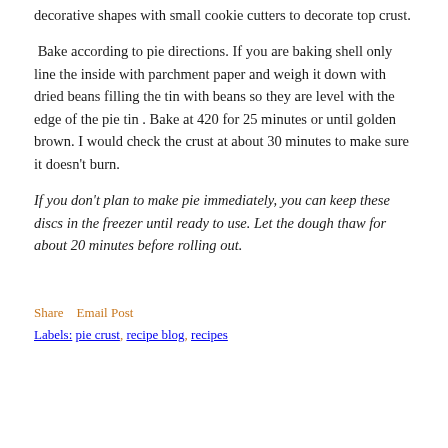decorative shapes with small cookie cutters to decorate top crust.
Bake according to pie directions. If you are baking shell only line the inside with parchment paper and weigh it down with dried beans filling the tin with beans so they are level with the edge of the pie tin . Bake at 420 for 25 minutes or until golden brown. I would check the crust at about 30 minutes to make sure it doesn't burn.
If you don't plan to make pie immediately, you can keep these discs in the freezer until ready to use. Let the dough thaw for about 20 minutes before rolling out.
Share    Email Post
Labels: pie crust, recipe blog, recipes